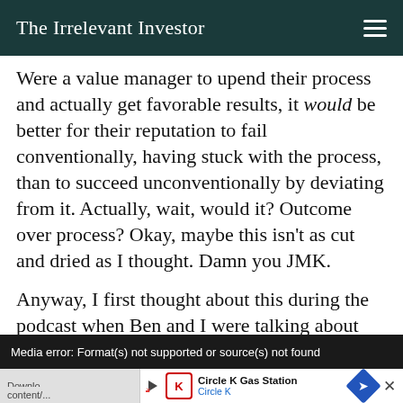The Irreverent Investor
Were a value manager to upend their process and actually get favorable results, it would be better for their reputation to fail conventionally, having stuck with the process, than to succeed unconventionally by deviating from it. Actually, wait, would it? Outcome over process? Okay, maybe this isn’t as cut and dried as I thought. Damn you JMK.
Anyway, I first thought about this during the podcast when Ben and I were talking about why coaches don’t go for it more on 4th down.
Media error: Format(s) not supported or source(s) not found